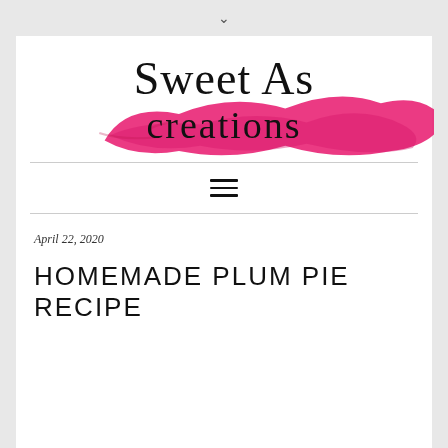∨
[Figure (logo): Sweet As creations logo with pink paint brush stroke background]
April 22, 2020
HOMEMADE PLUM PIE RECIPE